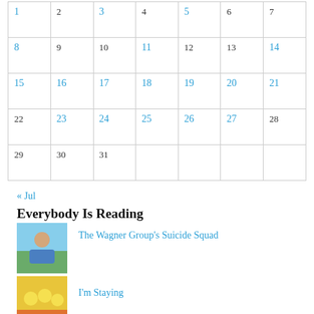| Sun | Mon | Tue | Wed | Thu | Fri | Sat |
| --- | --- | --- | --- | --- | --- | --- |
| 1 | 2 | 3 | 4 | 5 | 6 | 7 |
| 8 | 9 | 10 | 11 | 12 | 13 | 14 |
| 15 | 16 | 17 | 18 | 19 | 20 | 21 |
| 22 | 23 | 24 | 25 | 26 | 27 | 28 |
| 29 | 30 | 31 |  |  |  |  |
« Jul
Everybody Is Reading
The Wagner Group's Suicide Squad
I'm Staying
Minions: The Rise of the GRU